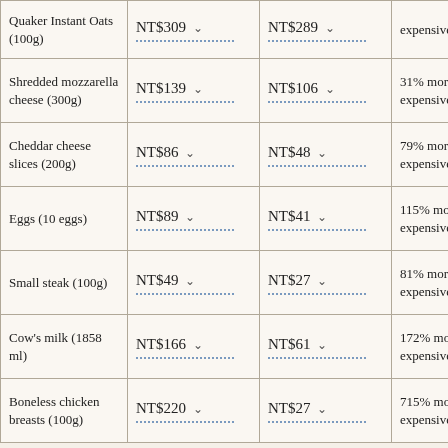| Quaker Instant Oats (100g) | NT$309 ↓ | NT$289 ↓ | expensive in Taiwan |
| Shredded mozzarella cheese (300g) | NT$139 ↓ | NT$106 ↓ | 31% more expensive |
| Cheddar cheese slices (200g) | NT$86 ↓ | NT$48 ↓ | 79% more expensive |
| Eggs (10 eggs) | NT$89 ↓ | NT$41 ↓ | 115% more expensive |
| Small steak (100g) | NT$49 ↓ | NT$27 ↓ | 81% more expensive |
| Cow's milk (1858 ml) | NT$166 ↓ | NT$61 ↓ | 172% more expensive |
| Boneless chicken breasts (100g) | NT$220 ↓ | NT$27 ↓ | 715% more expensive |